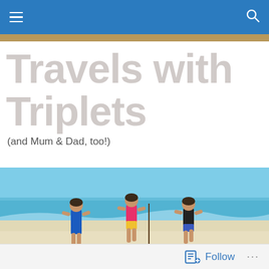Travels with Triplets
(and Mum & Dad, too!)
[Figure (photo): Three young girls in colorful swimwear running on a white sandy beach with turquoise ocean water in the background]
Follow ...